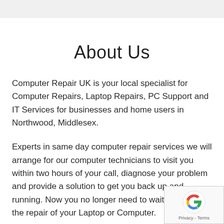About Us
Computer Repair UK is your local specialist for Computer Repairs, Laptop Repairs, PC Support and IT Services for businesses and home users in Northwood, Middlesex.
Experts in same day computer repair services we will arrange for our computer technicians to visit you within two hours of your call, diagnose your problem and provide a solution to get you back up and running. Now you no longer need to wait weeks for the repair of your Laptop or Computer.
Our aim is to arrange to visit you within 2 hours of your call.